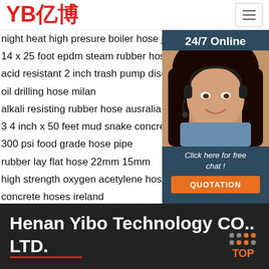[Figure (logo): YB亿博 logo in red text with registered trademark symbol]
night heat high presure boiler hose jamaica
14 x 25 foot epdm steam rubber hose
acid resistant 2 inch trash pump discharge hos
oil drilling hose milan
alkali resisting rubber hose ausralia
3 4 inch x 50 feet mud snake concrete pumping
300 psi food grade hose pipe
rubber lay flat hose 22mm 15mm
high strength oxygen acetylene hose
concrete hoses ireland
flexible hose dredger mumbai fort
[Figure (photo): 24/7 Online sidebar with photo of woman wearing headset, Click here for free chat!, and QUOTATION button]
Henan Yibo Technology CO.. LTD.